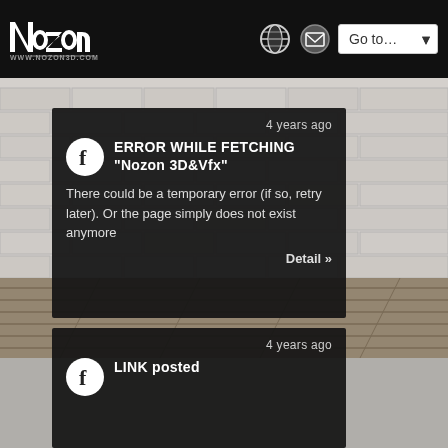Nozon 3D&Vfx — Go to... navigation header
[Figure (screenshot): Brick wall and wood floor background image]
4 years ago
ERROR WHILE FETCHING "Nozon 3D&Vfx"
There could be a temporary error (if so, retry later). Or the page simply does not exist anymore
Detail »
4 years ago
LINK posted